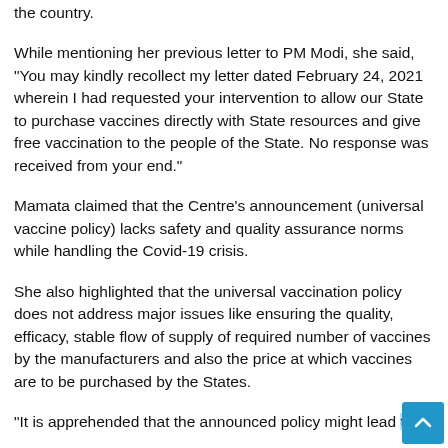the country.
While mentioning her previous letter to PM Modi, she said, “You may kindly recollect my letter dated February 24, 2021 wherein I had requested your intervention to allow our State to purchase vaccines directly with State resources and give free vaccination to the people of the State. No response was received from your end.”
Mamata claimed that the Centre’s announcement (universal vaccine policy) lacks safety and quality assurance norms while handling the Covid-19 crisis.
She also highlighted that the universal vaccination policy does not address major issues like ensuring the quality, efficacy, stable flow of supply of required number of vaccines by the manufacturers and also the price at which vaccines are to be purchased by the States.
“It is apprehended that the announced policy might lead to